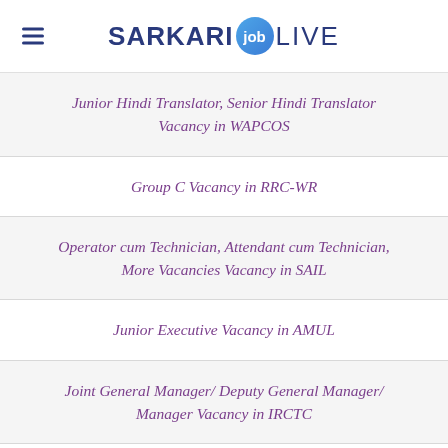SARKARI job LIVE
Junior Hindi Translator, Senior Hindi Translator Vacancy in WAPCOS
Group C Vacancy in RRC-WR
Operator cum Technician, Attendant cum Technician, More Vacancies Vacancy in SAIL
Junior Executive Vacancy in AMUL
Joint General Manager/ Deputy General Manager/ Manager Vacancy in IRCTC